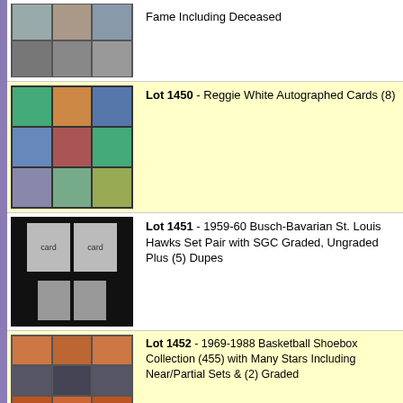Fame Including Deceased
Lot 1450 - Reggie White Autographed Cards (8)
Lot 1451 - 1959-60 Busch-Bavarian St. Louis Hawks Set Pair with SGC Graded, Ungraded Plus (5) Dupes
Lot 1452 - 1969-1988 Basketball Shoebox Collection (455) with Many Stars Including Near/Partial Sets & (2) Graded
Lot 1453 - 1986-87 Fleer Basketball #57 Michael Jordan Rookie - BGS NM-MT+ 8.5